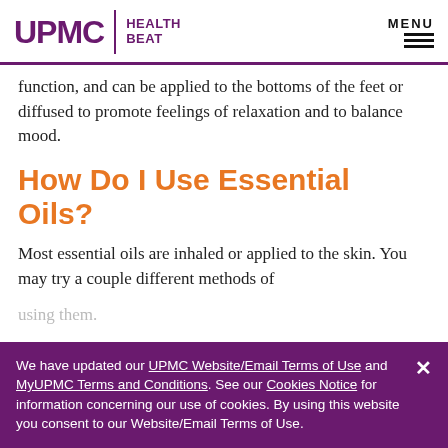UPMC | HEALTH BEAT
function, and can be applied to the bottoms of the feet or diffused to promote feelings of relaxation and to balance mood.
How Do I Use Essential Oils?
Most essential oils are inhaled or applied to the skin. You may try a couple different methods of using them.
We have updated our UPMC Website/Email Terms of Use and MyUPMC Terms and Conditions. See our Cookies Notice for information concerning our use of cookies. By using this website you consent to our Website/Email Terms of Use.